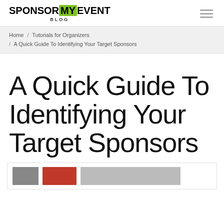SPONSOR MY EVENT BLOG
Home / Tutorials for Organizers / A Quick Guide To Identifying Your Target Sponsors
A Quick Guide To Identifying Your Target Sponsors
[Figure (other): Bottom strip with thumbnail image, red button, and wide image placeholder]